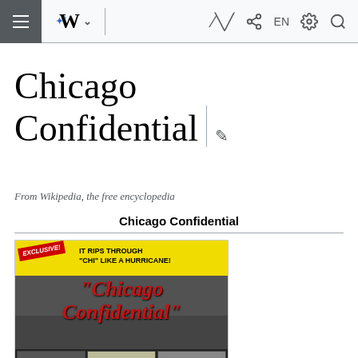Wikipedia mobile navigation bar with hamburger menu, Wikipedia logo, EN, settings and search icons
Chicago Confidential
From Wikipedia, the free encyclopedia
Chicago Confidential
[Figure (photo): Movie poster for Chicago Confidential with yellow background, text reading EXCLUSIVE! IT RIPS THROUGH "CHI" LIKE A HURRICANE! and Chicago Confidential in red lettering, with dark scenes below]